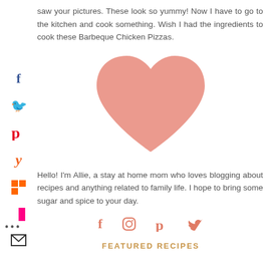saw your pictures. These look so yummy! Now I have to go to the kitchen and cook something. Wish I had the ingredients to cook these Barbeque Chicken Pizzas.
[Figure (illustration): A large salmon/coral colored heart shape centered on the page]
Hello! I'm Allie, a stay at home mom who loves blogging about recipes and anything related to family life. I hope to bring some sugar and spice to your day.
[Figure (infographic): Social media icons row: Facebook, Instagram, Pinterest, Twitter in salmon/coral color]
FEATURED RECIPES